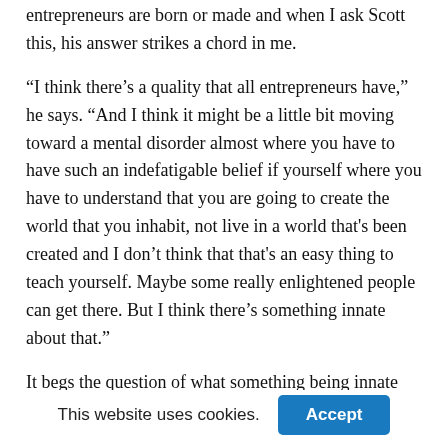I'm always curious to ask my guests if they think that entrepreneurs are born or made and when I ask Scott this, his answer strikes a chord in me.
“I think there’s a quality that all entrepreneurs have,” he says. “And I think it might be a little bit moving toward a mental disorder almost where you have to have such an indefatigable belief if yourself where you have to understand that you are going to create the world that you inhabit, not live in a world that's been created and I don’t think that that's an easy thing to teach yourself. Maybe some really enlightened people can get there. But I think there’s something innate about that.”
It begs the question of what something being innate really means. Is it something we’re born with or is it something
This website uses cookies.